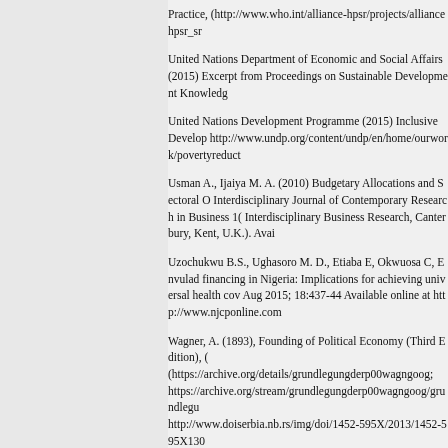Practice, (http://www.who.int/alliance-hpsr/projects/alliancehpsr_sr
United Nations Department of Economic and Social Affairs (2015) Excerpt from Proceedings on Sustainable Development Knowledg
United Nations Development Programme (2015) Inclusive Develop http://www.undp.org/content/undp/en/home/ourwork/povertyreduct
Usman A., Ijaiya M. A. (2010) Budgetary Allocations and Sectoral O Interdisciplinary Journal of Contemporary Research in Business 1( Interdisciplinary Business Research, Canterbury, Kent, U.K.). Avai
Uzochukwu B.S., Ughasoro M. D., Etiaba E, Okwuosa C, Envulad financing in Nigeria: Implications for achieving universal health cov Aug 2015; 18:437-44 Available online at http://www.njcponline.com
Wagner, A. (1893), Founding of Political Economy (Third Edition), ( (https://archive.org/details/grundlegungderp00wagngoog; https://archive.org/stream/grundlegungderp00wagngoog/grundlegu http://www.doiserbia.nb.rs/img/doi/1452-595X/2013/1452-595X130
World Bank (2017) Health, Nutrition and Population Statistics, Was
World Federation of Public Health Associations (WFPHA) (1978) N Available online at www.wfpha.org/tl_files/doc Accessed 12/4/14.
World Health Organization, Nigeria: WHO Statistical Profile 2013. ( Available from: http://www.healthinfo/ [Last accessed on 20